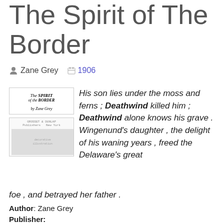The Spirit of The Border
Zane Grey  1906
[Figure (illustration): Book cover of 'The Spirit of the Border' by Zane Grey, published by Grosset & Dunlap, New York. Shows title text and publisher information with decorative text layout.]
His son lies under the moss and ferns ; Deathwind killed him ; Deathwind alone knows his grave . Wingenund's daughter , the delight of his waning years , freed the Delaware's great foe , and betrayed her father .
Author: Zane Grey
Publisher:
ISBN: COLUMBIA:1002112337